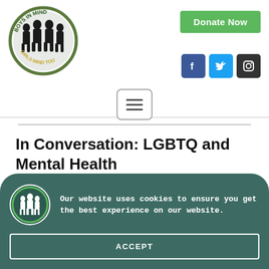[Figure (logo): Boys In Mind / Girls Mind Too circular logo with silhouettes of people]
Donate Now
[Figure (other): Social media icons: Facebook, Twitter, Instagram]
[Figure (other): Hamburger menu button with three horizontal lines]
In Conversation: LGBTQ and Mental Health
Our website uses cookies to ensure you get the best experience on our website.
ACCEPT